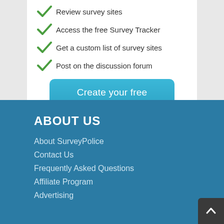Review survey sites
Access the free Survey Tracker
Get a custom list of survey sites
Post on the discussion forum
Create your free account
ABOUT US
About SurveyPolice
Contact Us
Frequently Asked Questions
Affiliate Program
Advertising